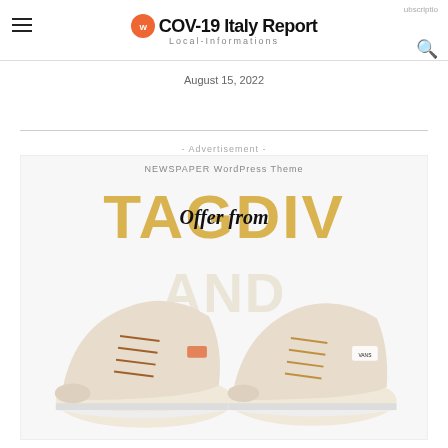COV-19 Italy Report | Local-Informations
August 15, 2022
- Advertisement -
[Figure (illustration): NEWSPAPER WordPress Theme advertisement banner showing 'Offer from TAGDIV' text with two beige/cream suede sneakers (Vans-style shoes) displayed against a white background with large golden TAGDIV letters.]